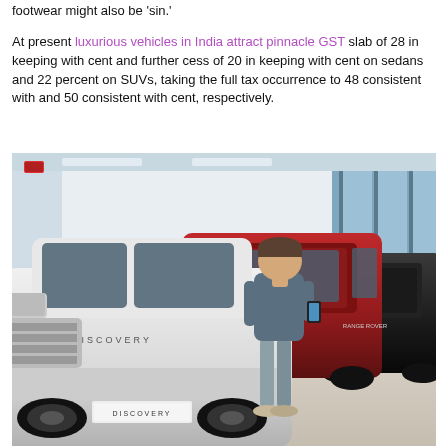footwear might also be 'sin.' At present luxurious vehicles in India attract pinnacle GST slab of 28 in keeping with cent and further cess of 20 in keeping with cent on sedans and 22 percent on SUVs, taking the full tax occurrence to 48 consistent with and 50 consistent with cent, respectively.
[Figure (photo): A man standing in a luxury car showroom looking at his phone, with a white Land Rover Discovery in the foreground, a red SUV and black SUVs in the background.]